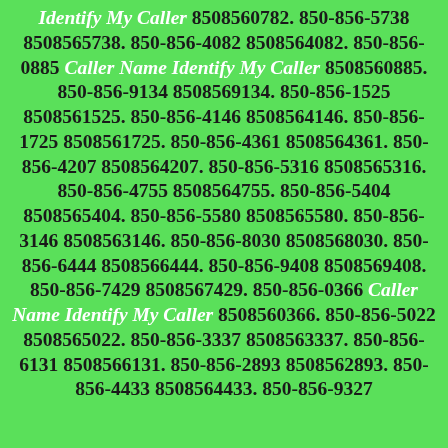Identify My Caller 8508560782. 850-856-5738 8508565738. 850-856-4082 8508564082. 850-856-0885 Caller Name Identify My Caller 8508560885. 850-856-9134 8508569134. 850-856-1525 8508561525. 850-856-4146 8508564146. 850-856-1725 8508561725. 850-856-4361 8508564361. 850-856-4207 8508564207. 850-856-5316 8508565316. 850-856-4755 8508564755. 850-856-5404 8508565404. 850-856-5580 8508565580. 850-856-3146 8508563146. 850-856-8030 8508568030. 850-856-6444 8508566444. 850-856-9408 8508569408. 850-856-7429 8508567429. 850-856-0366 Caller Name Identify My Caller 8508560366. 850-856-5022 8508565022. 850-856-3337 8508563337. 850-856-6131 8508566131. 850-856-2893 8508562893. 850-856-4433 8508564433. 850-856-9327